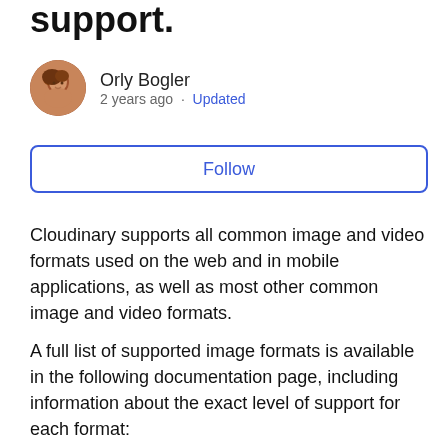support.
[Figure (photo): Circular avatar photo of Orly Bogler, a woman with brown hair]
Orly Bogler
2 years ago · Updated
Follow
Cloudinary supports all common image and video formats used on the web and in mobile applications, as well as most other common image and video formats.
A full list of supported image formats is available in the following documentation page, including information about the exact level of support for each format: https://cloudinary.com/documentation/image_transformations#image_format_support
A corresponding list for supported video and audio formats can be found
at https://cloudinary.com/documentation/video...